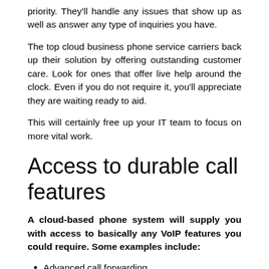priority. They'll handle any issues that show up as well as answer any type of inquiries you have.
The top cloud business phone service carriers back up their solution by offering outstanding customer care. Look for ones that offer live help around the clock. Even if you do not require it, you'll appreciate they are waiting ready to aid.
This will certainly free up your IT team to focus on more vital work.
Access to durable call features
A cloud-based phone system will supply you with access to basically any VoIP features you could require. Some examples include:
Advanced call forwarding